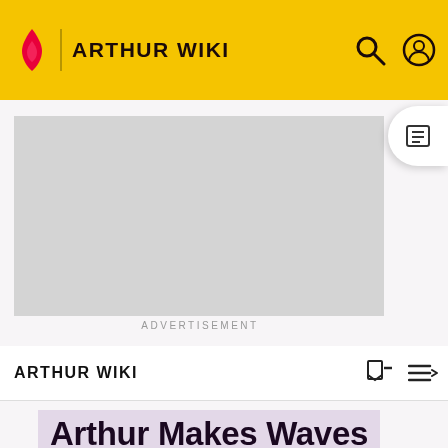ARTHUR WIKI
[Figure (other): Advertisement placeholder (grey rectangle)]
ADVERTISEMENT
ARTHUR WIKI
Arthur Makes Waves